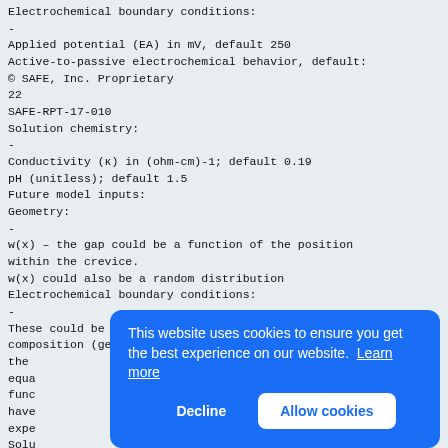Electrochemical boundary conditions:
-
Applied potential (EA) in mV, default 250
Active-to-passive electrochemical behavior, default:
© SAFE, Inc. Proprietary
22
SAFE-RPT-17-010
Solution chemistry:
-
Conductivity (κ) in (ohm-cm)-1; default 0.19
pH (unitless); default 1.5
Future model inputs:
Geometry:
-
w(x) – the gap could be a function of the position within the crevice.
w(x) could also be a random distribution
Electrochemical boundary conditions:
-
These could be a function of time or local chemical composition (generally
the
equa
func
have
expe
Solu
-
Both
inte
time
Crevice corrosion Model Structure:
Default model structure:
This website uses cookies to ensure you get the best experience on our website. Learn more
Decline   Allow cookies